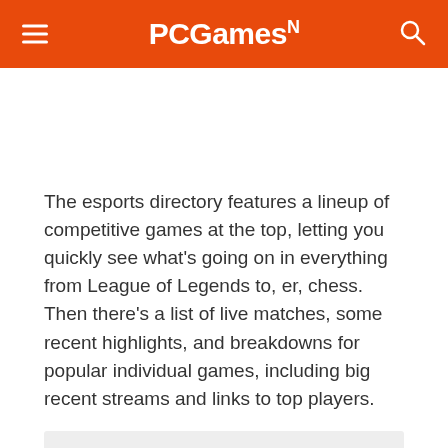PCGamesN
The esports directory features a lineup of competitive games at the top, letting you quickly see what's going on in everything from League of Legends to, er, chess. Then there's a list of live matches, some recent highlights, and breakdowns for popular individual games, including big recent streams and links to top players.
[Figure (other): Light gray placeholder box for an advertisement or image]